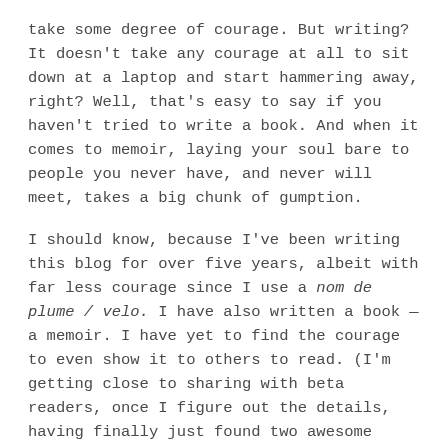take some degree of courage. But writing? It doesn't take any courage at all to sit down at a laptop and start hammering away, right? Well, that's easy to say if you haven't tried to write a book. And when it comes to memoir, laying your soul bare to people you never have, and never will meet, takes a big chunk of gumption.
I should know, because I've been writing this blog for over five years, albeit with far less courage since I use a nom de plume / velo. I have also written a book — a memoir. I have yet to find the courage to even show it to others to read. (I'm getting close to sharing with beta readers, once I figure out the details, having finally just found two awesome volunteers.) But in Heft on Wheels: A Field Guide to Doing a 180, his 2005 memoir (I know; I'm very…